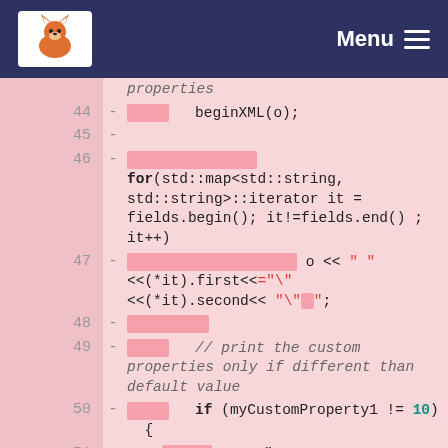Menu
properties
44  -  [deleted] beginXML(o);
45  -
46  -  [deleted] for(std::map<std::string, std::string>::iterator it = fields.begin(); it!=fields.end() ; it++)
47  -  [deleted] o << " " <<(*it).first<<"=\"" <<(*it).second<< "\"";
48  -  [deleted]
49  -  [deleted] // print the custom properties only if different than default value
50  -  [deleted] if (myCustomProperty1 != 10) {
51  -  [deleted] o << " myCustomProperty1=\"" << myCustomProperty1 << "\"";